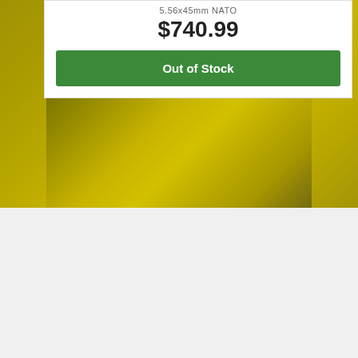[Figure (screenshot): Product listing card showing item subtitle '5.56x45mm NATO', price '$740.99', and a green 'Out of Stock' button, displayed on a yellow/green camouflage background]
$740.99
Out of Stock
SUPPORT
(704) 477-8988
Contact Us